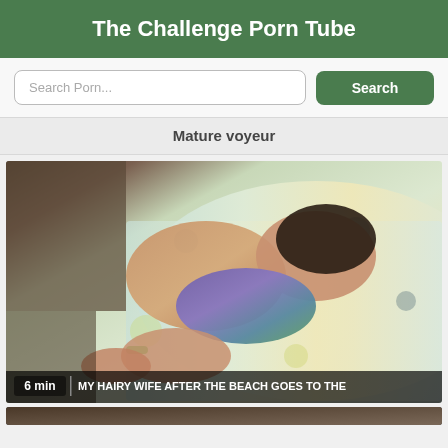The Challenge Porn Tube
Search Porn...
Search
Mature voyeur
[Figure (photo): Video thumbnail showing a person lying on a bed with floral bedding, wearing a purple and green floral bikini bottom with a green wristband. Video duration label '6 min' and title 'MY HAIRY WIFE AFTER THE BEACH GOES TO THE' overlaid at bottom.]
6 min  MY HAIRY WIFE AFTER THE BEACH GOES TO THE